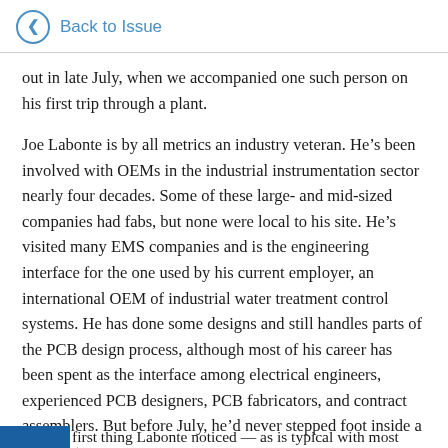Back to Issue
out in late July, when we accompanied one such person on his first trip through a plant.
Joe Labonte is by all metrics an industry veteran. He’s been involved with OEMs in the industrial instrumentation sector nearly four decades. Some of these large- and mid-sized companies had fabs, but none were local to his site. He’s visited many EMS companies and is the engineering interface for the one used by his current employer, an international OEM of industrial water treatment control systems. He has done some designs and still handles parts of the PCB design process, although most of his career has been spent as the interface among electrical engineers, experienced PCB designers, PCB fabricators, and contract assemblers. But before July, he’d never stepped foot inside a fab plant.
first thing Labonte noticed — as is typical with most